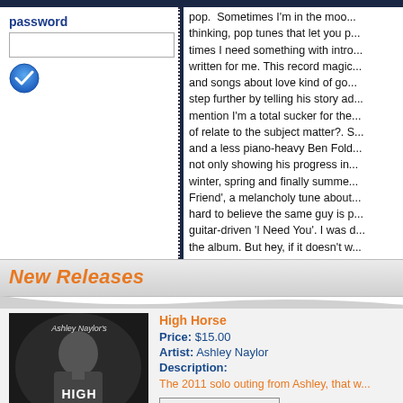password
pop. Sometimes I'm in the mood for thinking, pop tunes that let you p... times I need something with intro... written for me. This record magic... and songs about love kind of go... step further by telling his story ad... mention I'm a total sucker for the... of relate to the subject matter?. S... and a less piano-heavy Ben Fold... not only showing his progress in... winter, spring and finally summer... Friend', a melancholy tune about... hard to believe the same guy is p... guitar-driven 'I Need You'. I was ... the album. But hey, if it doesn't w... have some good song material." musically poignant as all get out.... will." - Jack Rabid/The Big Takeo...
New Releases
[Figure (photo): Album cover for Ashley Naylor's High Horse - black and white photo of a man looking upward, with text 'Ashley Naylor's HIGH HORSE' overlaid]
High Horse
Price: $15.00
Artist: Ashley Naylor
Description:
The 2011 solo outing from Ashley, that w...
Add One To Basket